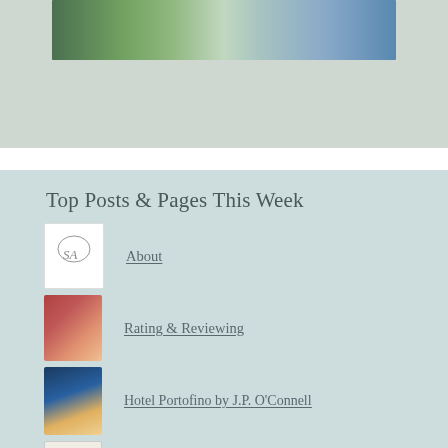[Figure (photo): Partial view of a person lying in grass with a book, light blue clothing visible]
Top Posts & Pages This Week
[Figure (illustration): Logo/script thumbnail for 'About' entry]
About
[Figure (illustration): Group of illustrated women/girls thumbnail for 'Rating & Reviewing']
Rating & Reviewing
[Figure (photo): Book cover thumbnail: Hotel Portofino by J.P. O'Connell]
Hotel Portofino by J.P. O'Connell
[Figure (photo): Book cover thumbnail: Just Mercy by Bryan Stevenson]
Just Mercy by Bryan Stevenson
[Figure (photo): Book cover thumbnail: Tumult & Tears by Vivian Newman]
Tumult & Tears by Vivian Newman